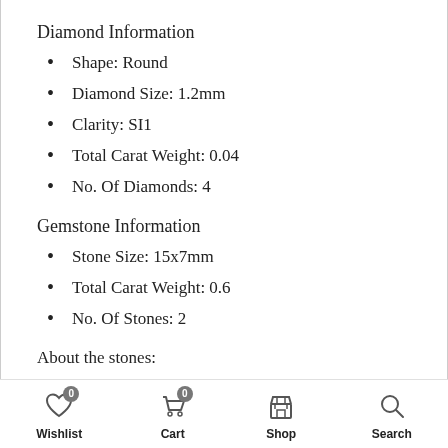Diamond Information
Shape: Round
Diamond Size: 1.2mm
Clarity: SI1
Total Carat Weight: 0.04
No. Of Diamonds: 4
Gemstone Information
Stone Size: 15x7mm
Total Carat Weight: 0.6
No. Of Stones: 2
About the stones:
Natural Aquamarine: As the blue-green, highly prized
Wishlist  Cart  Shop  Search